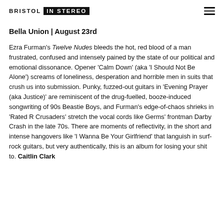BRISTOL IN STEREO
Bella Union | August 23rd
Ezra Furman's Twelve Nudes bleeds the hot, red blood of a man frustrated, confused and intensely pained by the state of our political and emotional dissonance. Opener ‘Calm Down’ (aka ‘I Should Not Be Alone’) screams of loneliness, desperation and horrible men in suits that crush us into submission. Punky, fuzzed-out guitars in ‘Evening Prayer (aka Justice)’ are reminiscent of the drug-fuelled, booze-induced songwriting of 90s Beastie Boys, and Furman’s edge-of-chaos shrieks in ‘Rated R Crusaders’ stretch the vocal cords like Germs’ frontman Darby Crash in the late 70s. There are moments of reflectivity, in the short and intense hangovers like ‘I Wanna Be Your Girlfriend’ that languish in surf-rock guitars, but very authentically, this is an album for losing your shit to. Caitlin Clark